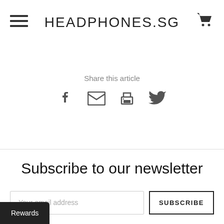HEADPHONES.SG
Share this article
[Figure (other): Social share icons: Facebook, Email, Print, Twitter]
Subscribe to our newsletter
Your email address
SUBSCRIBE
Rewards